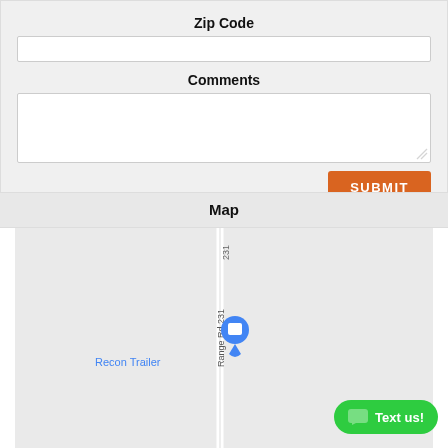Zip Code
Comments
[Figure (screenshot): Submit button — orange rectangle with white uppercase text SUBMIT]
Map
[Figure (map): Google Maps snippet showing Range Rd 231 with a blue location pin labeled Recon Trailer. Road number 231 appears at top. Map background is light grey/white.]
[Figure (screenshot): Green rounded button at bottom right with chat icon and text 'Text us!']